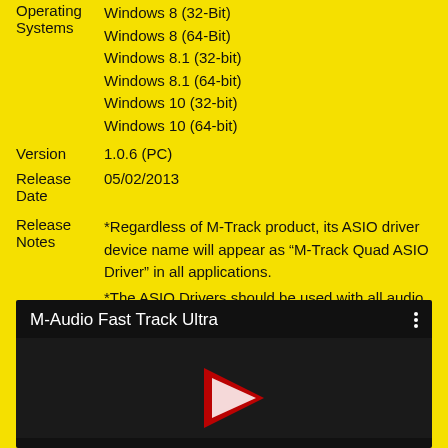| Operating Systems | Windows 8 (32-Bit)
Windows 8 (64-Bit)
Windows 8.1 (32-bit)
Windows 8.1 (64-bit)
Windows 10 (32-bit)
Windows 10 (64-bit) |
| Version | 1.0.6 (PC) |
| Release Date | 05/02/2013 |
| Release Notes | *Regardless of M-Track product, its ASIO driver device name will appear as “M-Track Quad ASIO Driver” in all applications.
*The ASIO Drivers should be used with all audio applications that need ASIO support (such as AIR Ignite). WASAPI style drivers are lower performance and have been found to be unstable in some applications. |
Terms & Conditions
[Figure (screenshot): YouTube video thumbnail screenshot showing 'M-Audio Fast Track Ultra' video title on dark background with YouTube play button icon visible at bottom center]